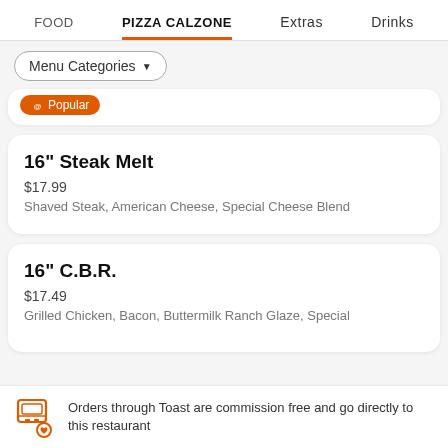FOOD  PIZZA CALZONE  Extras  Drinks
Menu Categories ▼
Popular
16" Steak Melt
$17.99
Shaved Steak, American Cheese, Special Cheese Blend
16" C.B.R.
$17.49
Grilled Chicken, Bacon, Buttermilk Ranch Glaze, Special
Orders through Toast are commission free and go directly to this restaurant